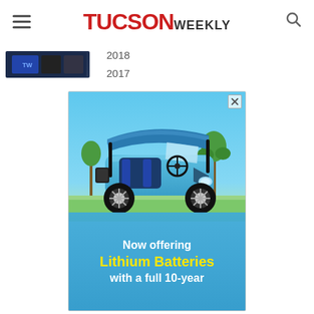TUCSON WEEKLY
2018
2017
[Figure (photo): Advertisement showing a blue golf cart with lithium battery promotion. Text reads: Now offering Lithium Batteries with a full 10-year [warranty]]